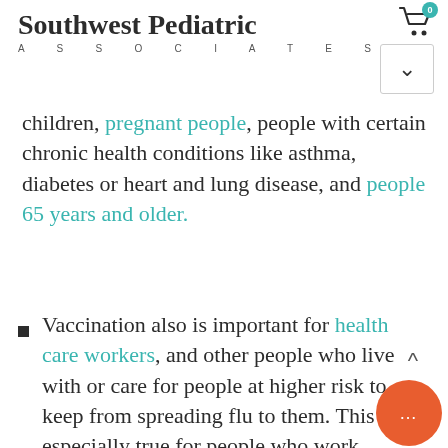Southwest Pediatric ASSOCIATES
children, pregnant people, people with certain chronic health conditions like asthma, diabetes or heart and lung disease, and people 65 years and older.
Vaccination also is important for health care workers, and other people who live with or care for people at higher risk to keep from spreading flu to them. This is especially true for people who work